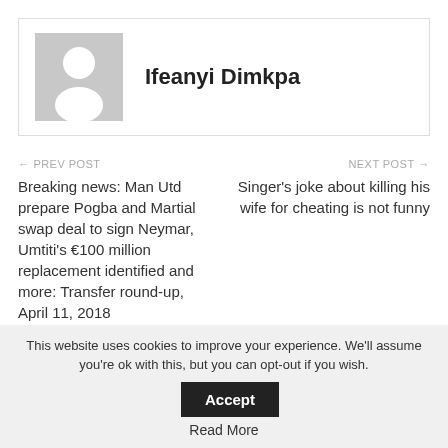[Figure (illustration): Generic user avatar placeholder — grey square with white silhouette of a person]
Ifeanyi Dimkpa
← PREV POST
Breaking news: Man Utd prepare Pogba and Martial swap deal to sign Neymar, Umtiti's €100 million replacement identified and more: Transfer round-up, April 11, 2018
NEXT POST →
Singer's joke about killing his wife for cheating is not funny
This website uses cookies to improve your experience. We'll assume you're ok with this, but you can opt-out if you wish.
Accept
Read More